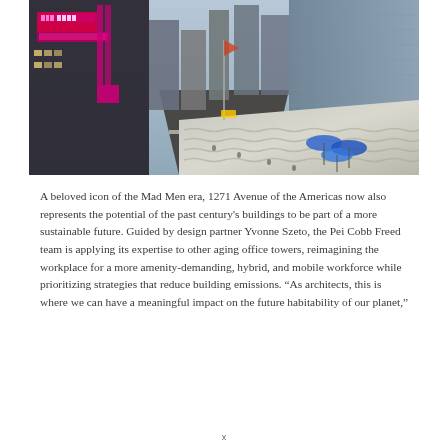[Figure (photo): Aerial view of 1271 Avenue of the Americas (Sixth Avenue) in New York City, showing Radio City Music Hall on the left with neon signage, midtown Manhattan skyscrapers, and a pedestrian plaza with blue umbrella structures in the foreground, taken at dusk.]
A beloved icon of the Mad Men era, 1271 Avenue of the Americas now also represents the potential of the past century's buildings to be part of a more sustainable future. Guided by design partner Yvonne Szeto, the Pei Cobb Freed team is applying its expertise to other aging office towers, reimagining the workplace for a more amenity-demanding, hybrid, and mobile workforce while prioritizing strategies that reduce building emissions. “As architects, this is where we can have a meaningful impact on the future habitability of our planet,”
x